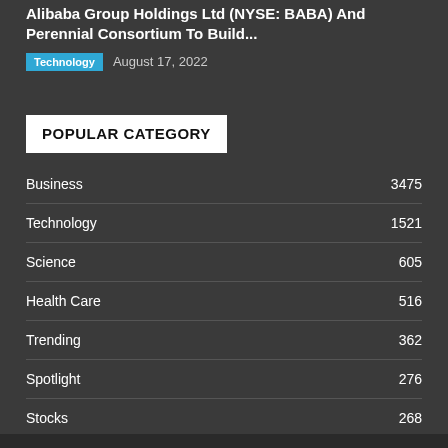Alibaba Group Holdings Ltd (NYSE: BABA) And Perennial Consortium To Build...
Technology  August 17, 2022
POPULAR CATEGORY
Business 3475
Technology 1521
Science 605
Health Care 516
Trending 362
Spotlight 276
Stocks 268